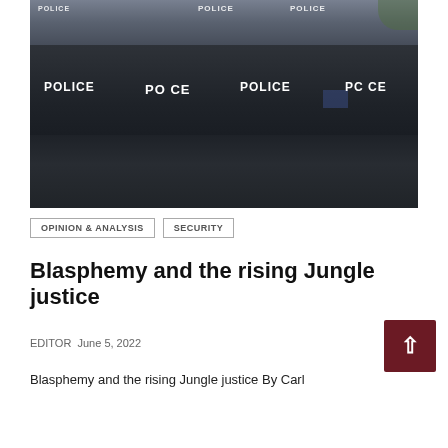[Figure (photo): Riot police officers in full gear — helmets, shields, knee pads — with POLICE written on their vests/shields. Multiple officers standing close together.]
OPINION & ANALYSIS
SECURITY
Blasphemy and the rising Jungle justice
EDITOR  June 5, 2022
Blasphemy and the rising Jungle justice By Carl